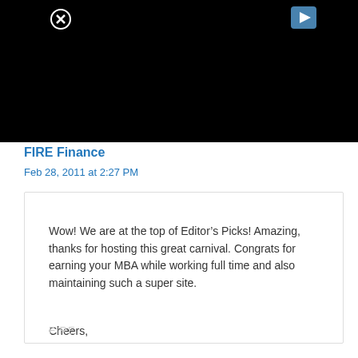[Figure (other): Black banner/video area with close button (circled X) top-left and play button top-right]
FIRE Finance
Feb 28, 2011 at 2:27 PM
Wow! We are at the top of Editor’s Picks! Amazing, thanks for hosting this great carnival. Congrats for earning your MBA while working full time and also maintaining such a super site.

Cheers,
FIRE